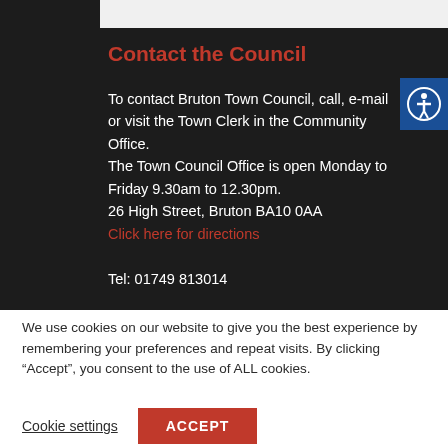Contact the Council
To contact Bruton Town Council, call, e-mail or visit the Town Clerk in the Community Office.
The Town Council Office is open Monday to Friday 9.30am to 12.30pm.
26 High Street, Bruton BA10 0AA
Click here for directions
Tel: 01749 813014
E-mail: townclerk@brutontowncouncil.gov.uk
You can contact individual councillors via the Meet
We use cookies on our website to give you the best experience by remembering your preferences and repeat visits. By clicking “Accept”, you consent to the use of ALL cookies.
Cookie settings
ACCEPT